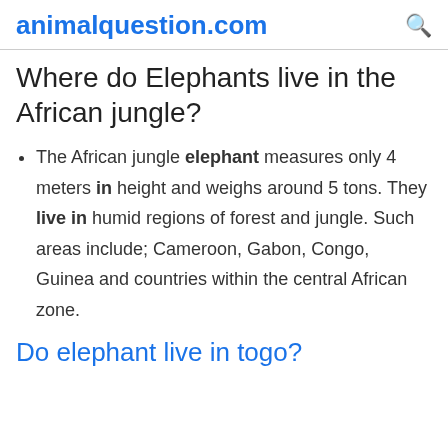animalquestion.com
Where do Elephants live in the African jungle?
The African jungle elephant measures only 4 meters in height and weighs around 5 tons. They live in humid regions of forest and jungle. Such areas include; Cameroon, Gabon, Congo, Guinea and countries within the central African zone.
Do elephant live in togo?